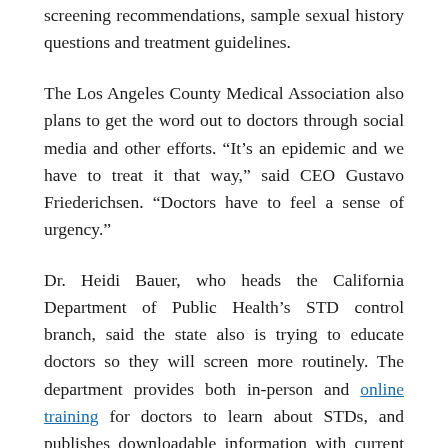screening recommendations, sample sexual history questions and treatment guidelines.
The Los Angeles County Medical Association also plans to get the word out to doctors through social media and other efforts. “It’s an epidemic and we have to treat it that way,” said CEO Gustavo Friederichsen. “Doctors have to feel a sense of urgency.”
Dr. Heidi Bauer, who heads the California Department of Public Health’s STD control branch, said the state also is trying to educate doctors so they will screen more routinely. The department provides both in-person and online training for doctors to learn about STDs, and publishes downloadable information with current guidelines.